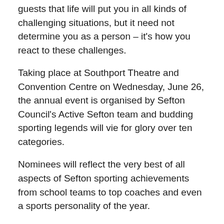guests that life will put you in all kinds of challenging situations, but it need not determine you as a person – it's how you react to these challenges.
Taking place at Southport Theatre and Convention Centre on Wednesday, June 26, the annual event is organised by Sefton Council's Active Sefton team and budding sporting legends will vie for glory over ten categories.
Nominees will reflect the very best of all aspects of Sefton sporting achievements from school teams to top coaches and even a sports personality of the year.
You can make your nominations in the following groups:
Young Volunteer of the Year (14 – 19 Years)
Volunteer of the Year
School of the Year – (Primary and Secondary)
Sports Personality of the Year (Jnr Sports Personality U18,